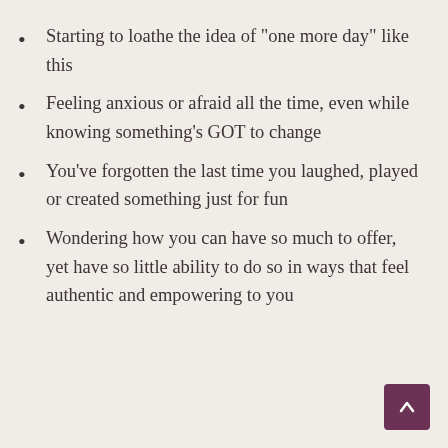Starting to loathe the idea of "one more day" like this
Feeling anxious or afraid all the time, even while knowing something's GOT to change
You've forgotten the last time you laughed, played or created something just for fun
Wondering how you can have so much to offer, yet have so little ability to do so in ways that feel authentic and empowering to you